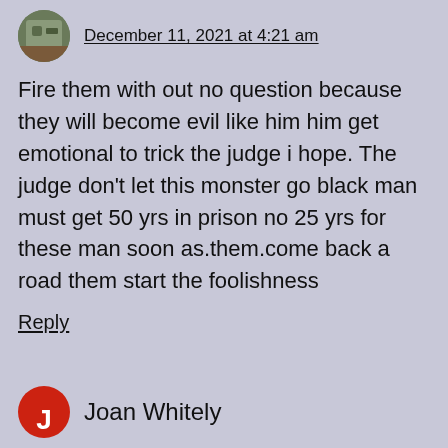December 11, 2021 at 4:21 am
Fire them with out no question because they will become evil like him him get emotional to trick the judge i hope. The judge don't let this monster go black man must get 50 yrs in prison no 25 yrs for these man soon as.them.come back a road them start the foolishness
Reply
Joan Whitely